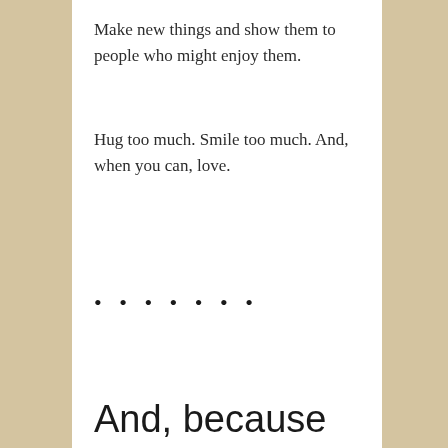Make new things and show them to people who might enjoy them.
Hug too much. Smile too much. And, when you can, love.
• • • • • • •
And, because Death took so much in 2016, Wishing her Such